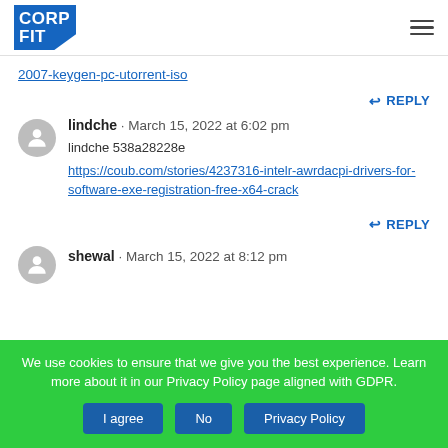CORP FIT
2007-keygen-pc-utorrent-iso
REPLY
lindche · March 15, 2022 at 6:02 pm
lindche 538a28228e
https://coub.com/stories/4237316-intelr-awrdacpi-drivers-for-software-exe-registration-free-x64-crack
REPLY
shewal · March 15, 2022 at 8:12 pm
We use cookies to ensure that we give you the best experience. Learn more about it in our Privacy Policy page aligned with GDPR.
I agree | No | Privacy Policy